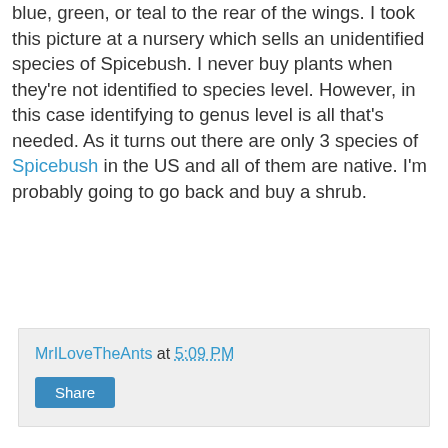blue, green, or teal to the rear of the wings. I took this picture at a nursery which sells an unidentified species of Spicebush. I never buy plants when they're not identified to species level. However, in this case identifying to genus level is all that's needed. As it turns out there are only 3 species of Spicebush in the US and all of them are native. I'm probably going to go back and buy a shrub.
MrILoveTheAnts at 5:09 PM
Share
Saturday, August 6, 2011
1 Queen, 2 Queen, 3 Queen, 4
[Figure (photo): Close-up photograph of a sandy or rocky surface covered with numerous small ants, with green vegetation visible at the edges.]